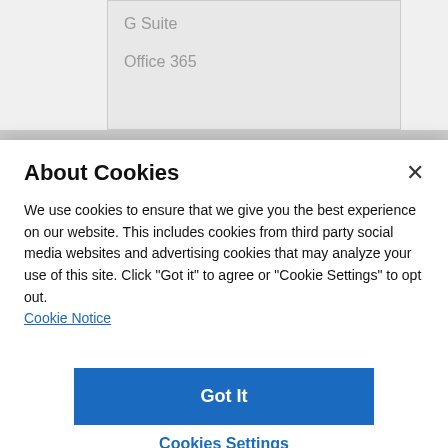[Figure (screenshot): Dropdown menu showing items 'G Suite' and 'Office 365' in a light gray box against a gray background]
About Cookies
We use cookies to ensure that we give you the best experience on our website. This includes cookies from third party social media websites and advertising cookies that may analyze your use of this site. Click "Got it" to agree or "Cookie Settings" to opt out.
Cookie Notice
Got It
Cookies Settings